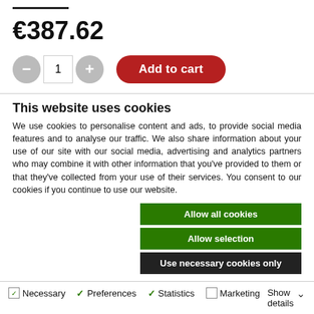€387.62
[Figure (screenshot): Add to cart UI with minus button, quantity input showing 1, plus button, and red Add to cart button]
This website uses cookies
We use cookies to personalise content and ads, to provide social media features and to analyse our traffic. We also share information about your use of our site with our social media, advertising and analytics partners who may combine it with other information that you've provided to them or that they've collected from your use of their services. You consent to our cookies if you continue to use our website.
Allow all cookies
Allow selection
Use necessary cookies only
Necessary  Preferences  Statistics  Marketing  Show details